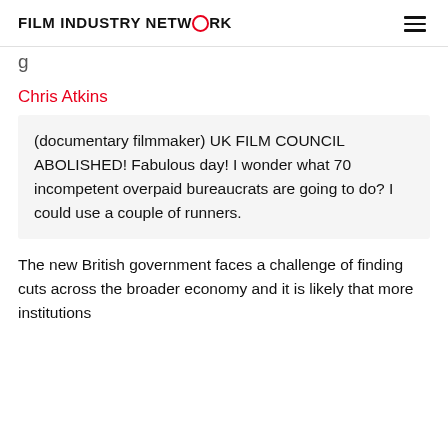FILM INDUSTRY NETWORK
g
Chris Atkins
(documentary filmmaker) UK FILM COUNCIL ABOLISHED! Fabulous day! I wonder what 70 incompetent overpaid bureaucrats are going to do? I could use a couple of runners.
The new British government faces a challenge of finding cuts across the broader economy and it is likely that more institutions